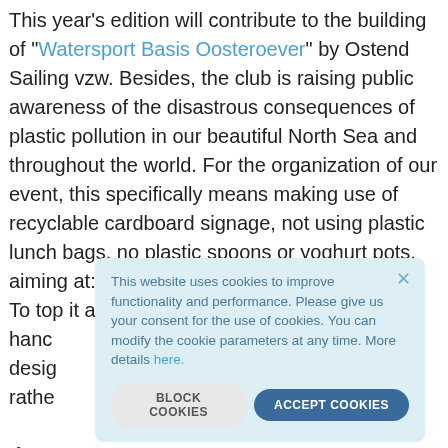This year's edition will contribute to the building of "Watersport Basis Oosteroever" by Ostend Sailing vzw. Besides, the club is raising public awareness of the disastrous consequences of plastic pollution in our beautiful North Sea and throughout the world. For the organization of our event, this specifically means making use of recyclable cardboard signage, not using plastic lunch bags, no plastic spoons or yoghurt pots, aiming at: ZERO PLASTIC and minimal waste! To top it all off, the FLINN 3D Cup, still in the hand... desig... rathe...
If yo... firm... numb...
[Figure (screenshot): Cookie consent popup overlay with light blue background. Contains text: 'This website uses cookies to improve functionality and performance. Please give us your consent for the use of cookies. You can modify the cookie parameters at any time. More details here.' Two buttons: 'BLOCK COOKIES' (grey) and 'ACCEPT COOKIES' (dark blue). Close button (×) in top right corner.]